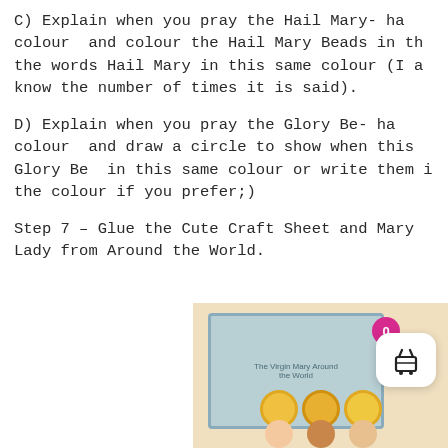C) Explain when you pray the Hail Mary- ha colour  and colour the Hail Mary Beads in th the words Hail Mary in this same colour (I a know the number of times it is said).
D) Explain when you pray the Glory Be- ha colour  and draw a circle to show when this Glory Be  in this same colour or write them i the colour if you prefer;)
Step 7 – Glue the Cute Craft Sheet and Mary Lady from Around the World.
[Figure (photo): A craft sheet showing a Virgin Mary Around the World illustration card on a beige background, with a shopping cart UI overlay showing badge with '0' and a white cart button with basket icon, and illustrated Mary figures at the bottom.]